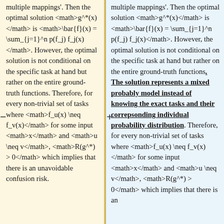multiple mappings'. Then the optimal solution <math>g^*(x)</math> is <math>\bar{f}(x) = \sum_{j=1}^n p(f_j) f_j(x)</math>. However, the optimal solution is not conditional on the specific task at hand but rather on the entire ground-truth functions. Therefore, for every non-trivial set of tasks where <math>f_u(x) \neq f_v(x)</math> for some input <math>x</math> and <math>u \neq v</math>, <math>R(g^*) > 0</math> which implies that there is an unavoidable confusion risk.
multiple mappings'. Then the optimal solution <math>g^*(x)</math> is <math>\bar{f}(x) = \sum_{j=1}^n p(f_j) f_j(x)</math>. However, the optimal solution is not conditional on the specific task at hand but rather on the entire ground-truth functions. The solution represents a mixed probably model instead of knowing the exact tasks and their correpsonding individual probability distribution. Therefore, for every non-trivial set of tasks where <math>f_u(x) \neq f_v(x)</math> for some input <math>x</math> and <math>u \neq v</math>, <math>R(g^*) > 0</math> which implies that there is an